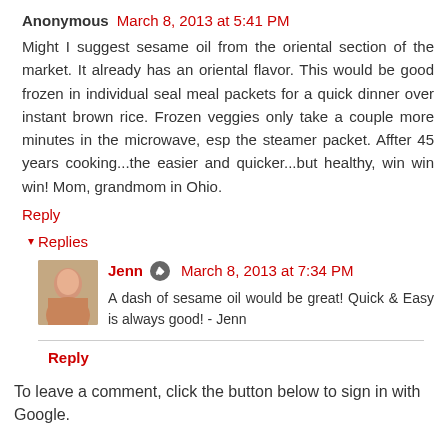Anonymous March 8, 2013 at 5:41 PM
Might I suggest sesame oil from the oriental section of the market. It already has an oriental flavor. This would be good frozen in individual seal meal packets for a quick dinner over instant brown rice. Frozen veggies only take a couple more minutes in the microwave, esp the steamer packet. Affter 45 years cooking...the easier and quicker...but healthy, win win win! Mom, grandmom in Ohio.
Reply
▾ Replies
Jenn March 8, 2013 at 7:34 PM
A dash of sesame oil would be great! Quick & Easy is always good! - Jenn
Reply
To leave a comment, click the button below to sign in with Google.